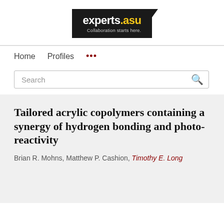[Figure (logo): experts.asu logo — black rectangle with white text 'experts' and yellow '.asu', tagline 'Collaboration starts here.']
Home
Profiles
...
Search
Tailored acrylic copolymers containing a synergy of hydrogen bonding and photo-reactivity
Brian R. Mohns, Matthew P. Cashion, Timothy E. Long